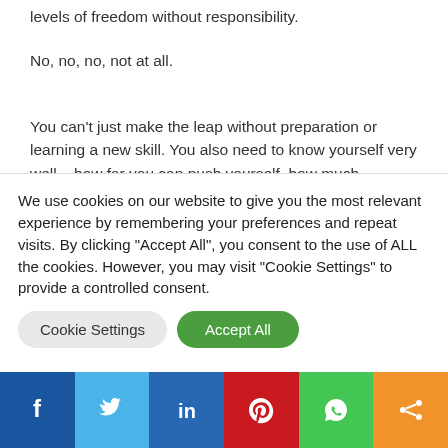levels of freedom without responsibility.
No, no, no, not at all.
You can't just make the leap without preparation or learning a new skill. You also need to know yourself very well – how far you can push yourself, how much determination you have and what sort of support network you can rely on.
Freedom, says Dr Wayne Dwyer, is the absence of
We use cookies on our website to give you the most relevant experience by remembering your preferences and repeat visits. By clicking "Accept All", you consent to the use of ALL the cookies. However, you may visit "Cookie Settings" to provide a controlled consent.